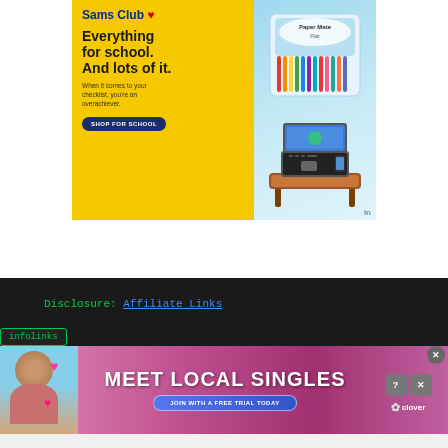[Figure (infographic): Sam's Club advertisement with yellow background. Text reads 'Everything for school. And lots of it. When it comes to your checklist, you're an overachiever.' with 'SHOP FOR SCHOOL' button. Shows colorful pens/markers and laptop on wooden tray.]
Disclosure: Affiliate Links
[Figure (infographic): infolinks badge in dark background]
[Figure (photo): Meet Local Singles advertisement with photo of woman, pink gradient background, 'JOIN WITH A FREE TRIAL TODAY' button, clover logo, and close/question buttons.]